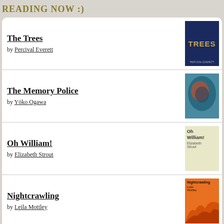READING NOW :)
The Trees by Percival Everett
The Memory Police by Yōko Ogawa
Oh William! by Elizabeth Strout
Nightcrawling by Leila Mottley
Hurricane Season by Fernanda Melchor